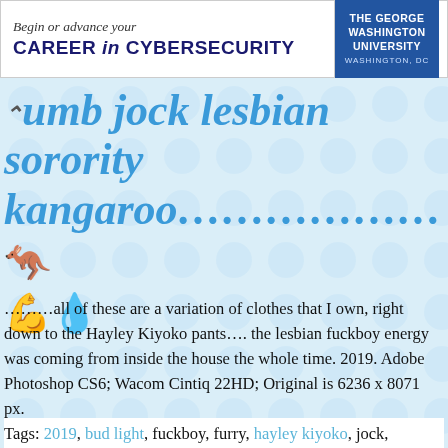[Figure (other): Advertisement banner for The George Washington University: 'Begin or advance your CAREER in CYBERSECURITY']
Dumb jock lesbian sorority kangaroo………………… 💪💧
………all of these are a variation of clothes that I own, right down to the Hayley Kiyoko pants…. the lesbian fuckboy energy was coming from inside the house the whole time. 2019. Adobe Photoshop CS6; Wacom Cintiq 22HD; Original is 6236 x 8071 px.
Tags: 2019, bud light, fuckboy, furry, hayley kiyoko, jock,